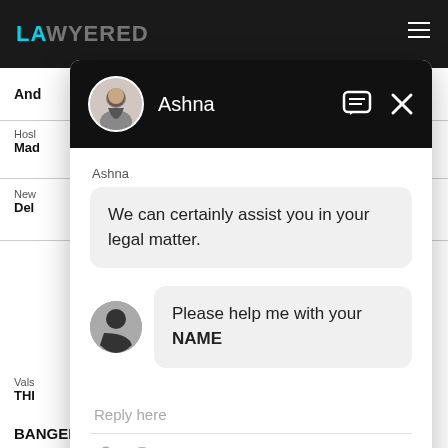LAWYERED
And
Hosl
Mad
New
Del
Vals
THI
BANGED DOOR 7 TIMES EXTREMELY LOUDLY, I
[Figure (screenshot): Chat widget popup showing a conversation with Ashna. Ashna's message: 'We can certainly assist you in your legal matter.' User message: 'Please help me with your NAME'. Reply input area at bottom with paperclip and smiley icons.]